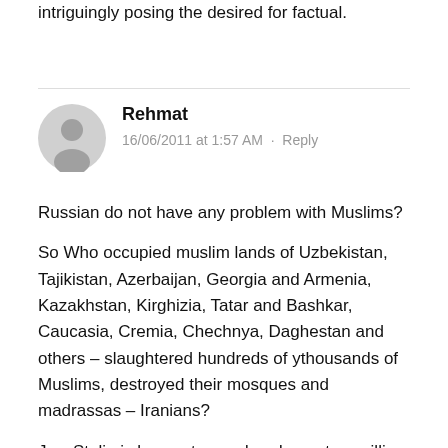intriguingly posing the desired for factual.
Rehmat
16/06/2011 at 1:57 AM · Reply
Russian do not have any problem with Muslims?

So Who occupied muslim lands of Uzbekistan, Tajikistan, Azerbaijan, Georgia and Armenia, Kazakhstan, Kirghizia, Tatar and Bashkar, Caucasia, Cremia, Chechnya, Daghestan and others – slaughtered hundreds of ythousands of Muslims, destroyed their mosques and madrassas – Iranians?

Jew Stalin is known to murdered over two million
[Figure (illustration): Generic user avatar icon - grey silhouette of a person on light grey circle background]